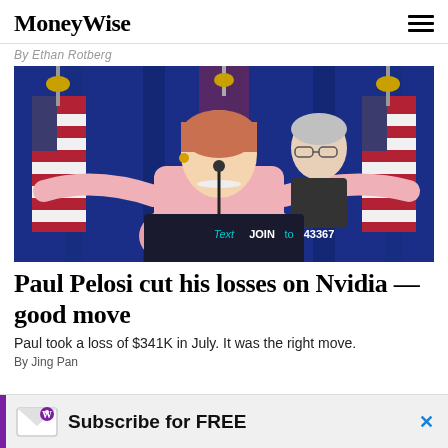MoneyWise
By Ethan Rotberg
[Figure (photo): Nancy Pelosi speaking at a podium with arms outstretched, a man visible behind her, US flags in background, sign reads 'Text JOIN to 43367']
Paul Pelosi cut his losses on Nvidia — good move
Paul took a loss of $341K in July. It was the right move.
By Jing Pan
Subscribe for FREE